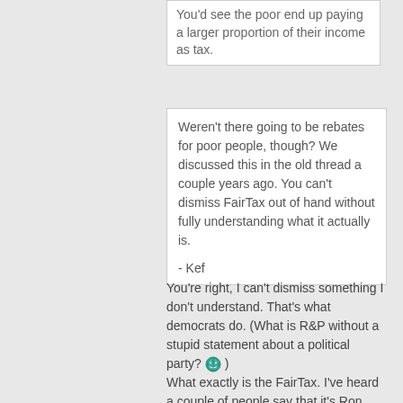You'd see the poor end up paying a larger proportion of their income as tax.
Weren't there going to be rebates for poor people, though? We discussed this in the old thread a couple years ago. You can't dismiss FairTax out of hand without fully understanding what it actually is.

- Kef
You're right, I can't dismiss something I don't understand. That's what democrats do. (What is R&P without a stupid statement about a political party? ) What exactly is the FairTax. I've heard a couple of people say that it's Ron Paul's plan to get rid of the IRS, but none of them seem to understand